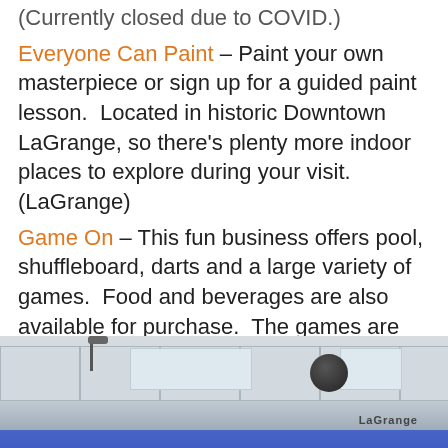(Currently closed due to COVID.)
Everyone Can Paint – Paint your own masterpiece or sign up for a guided paint lesson.  Located in historic Downtown LaGrange, so there's plenty more indoor places to explore during your visit. (LaGrange)
Game On – This fun business offers pool, shuffleboard, darts and a large variety of games.  Food and beverages are also available for purchase.  The games are very affordable. (LaGrange)
[Figure (photo): Interior photo showing ceiling of Game On venue with ceiling tiles, lighting panels, a security camera dome, and blue accent lighting along the bottom wall.]